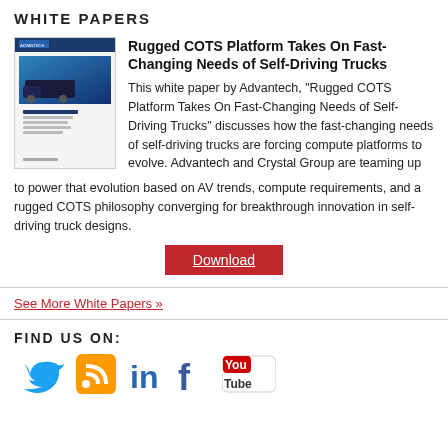WHITE PAPERS
Rugged COTS Platform Takes On Fast-Changing Needs of Self-Driving Trucks
[Figure (photo): Thumbnail image of the white paper cover for 'Rugged COTS Platform Takes On Fast-Changing Needs of Self-Driving Trucks' by Advantech, showing a truck and blue branding.]
This white paper by Advantech, "Rugged COTS Platform Takes On Fast-Changing Needs of Self-Driving Trucks" discusses how the fast-changing needs of self-driving trucks are forcing compute platforms to evolve. Advantech and Crystal Group are teaming up to power that evolution based on AV trends, compute requirements, and a rugged COTS philosophy converging for breakthrough innovation in self-driving truck designs.
Download
See More White Papers »
FIND US ON:
[Figure (illustration): Social media icons: Twitter (blue bird), RSS (orange wave), LinkedIn (blue 'in'), Facebook (blue 'f'), YouTube (red 'You Tube' box)]